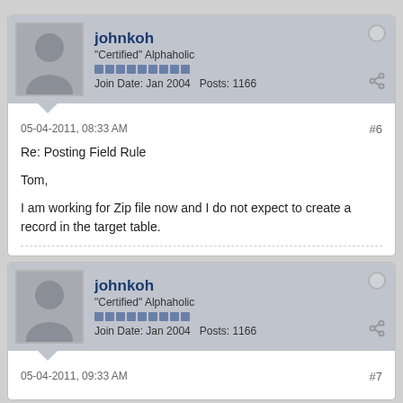[Figure (other): User profile bar for johnkoh - 'Certified' Alphaholic, Join Date: Jan 2004, Posts: 1166]
05-04-2011, 08:33 AM
#6
Re: Posting Field Rule
Tom,
I am working for Zip file now and I do not expect to create a record in the target table.
[Figure (other): User profile bar for johnkoh - 'Certified' Alphaholic, Join Date: Jan 2004, Posts: 1166]
05-04-2011, 09:33 AM
#7